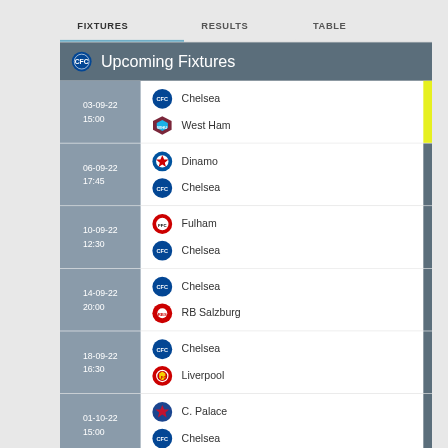FIXTURES | RESULTS | TABLE
Upcoming Fixtures
| Date/Time | Home | Away |
| --- | --- | --- |
| 03-09-22 15:00 | Chelsea | West Ham |
| 06-09-22 17:45 | Dinamo | Chelsea |
| 10-09-22 12:30 | Fulham | Chelsea |
| 14-09-22 20:00 | Chelsea | RB Salzburg |
| 18-09-22 16:30 | Chelsea | Liverpool |
| 01-10-22 15:00 | C. Palace | Chelsea |